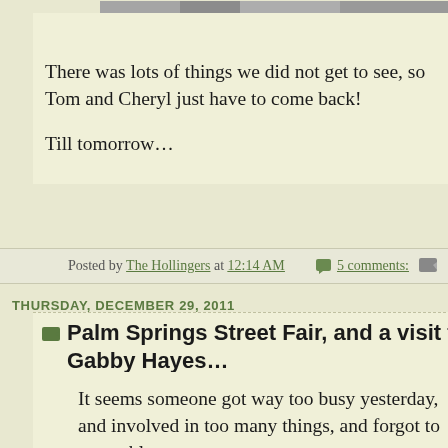[Figure (photo): Partial photo strip at top of page, cropped]
There was lots of things we did not get to see, so Tom and Cheryl just have to come back!

Till tomorrow…
Posted by The Hollingers at 12:14 AM   5 comments:
THURSDAY, DECEMBER 29, 2011
Palm Springs Street Fair, and a visit to Gabby Hayes…
It seems someone got way too busy yesterday, and involved in too many things, and forgot to post a blog….  ooopppsss….
However I am back again today, and it was another great day here in the Coachella Valley.  About 30 deg. C. and lots of sun!  I was off to the flying field